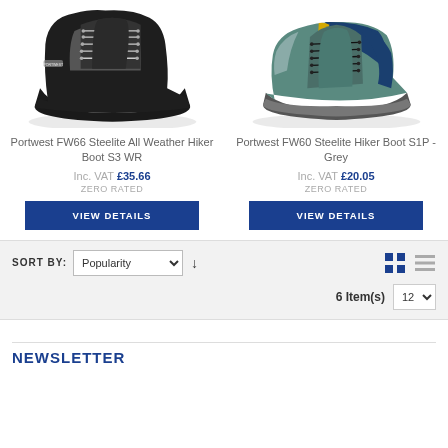[Figure (photo): Portwest FW66 black suede high-ankle safety hiker boot with grey accents and lace hooks]
[Figure (photo): Portwest FW60 teal/grey suede low safety hiker shoe with yellow and navy accent panels]
Portwest FW66 Steelite All Weather Hiker Boot S3 WR
Portwest FW60 Steelite Hiker Boot S1P - Grey
Inc. VAT £35.66
ZERO RATED
Inc. VAT £20.05
ZERO RATED
VIEW DETAILS
VIEW DETAILS
SORT BY: Popularity ↓  6 Item(s)  12
NEWSLETTER